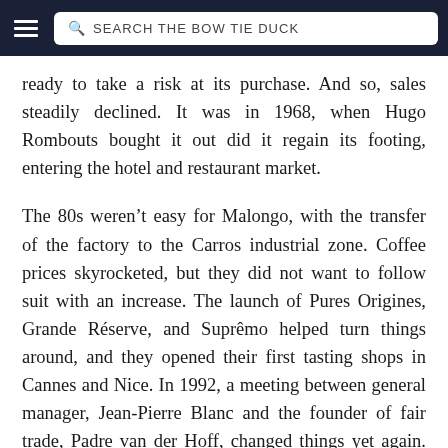SEARCH THE BOW TIE DUCK
ready to take a risk at its purchase. And so, sales steadily declined. It was in 1968, when Hugo Rombouts bought it out did it regain its footing, entering the hotel and restaurant market.
The 80s weren't easy for Malongo, with the transfer of the factory to the Carros industrial zone. Coffee prices skyrocketed, but they did not want to follow suit with an increase. The launch of Pures Origines, Grande Réserve, and Suprêmo helped turn things around, and they opened their first tasting shops in Cannes and Nice. In 1992, a meeting between general manager, Jean-Pierre Blanc and the founder of fair trade, Padre van der Hoff, changed things yet again. Malongo has since invested in small producers and fair trade.